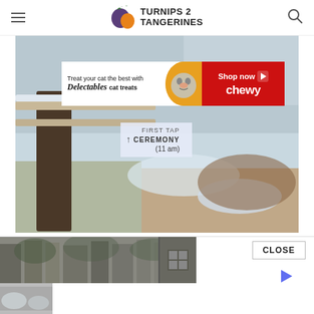TURNIPS 2 TANGERINES
[Figure (photo): Winter scene with snow-covered ground, wooden fence post and railings, sign reading FIRST TAP CEREMONY (11 am), with an advertisement banner overlay for Delectables cat treats from Chewy]
First Tree to be Tapped.
[Figure (photo): Bottom advertisement strip showing a forest/tree photo thumbnail with a CLOSE button and play icon]